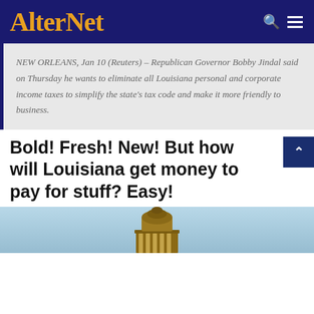AlterNet
NEW ORLEANS, Jan 10 (Reuters) – Republican Governor Bobby Jindal said on Thursday he wants to eliminate all Louisiana personal and corporate income taxes to simplify the state's tax code and make it more friendly to business.
Bold! Fresh! New! But how will Louisiana get money to pay for stuff? Easy!
[Figure (photo): Bottom portion of a building structure (appears to be a capitol dome or column detail) against a light blue sky background]